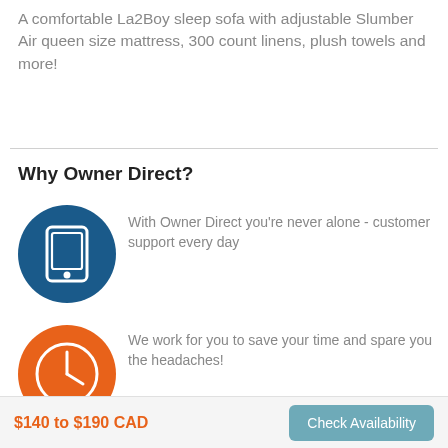A comfortable La2Boy sleep sofa with adjustable Slumber Air queen size mattress, 300 count linens, plush towels and more!
Why Owner Direct?
With Owner Direct you're never alone - customer support every day
We work for you to save your time and spare you the headaches!
Total rent and fees up front
$140 to $190 CAD
Check Availability